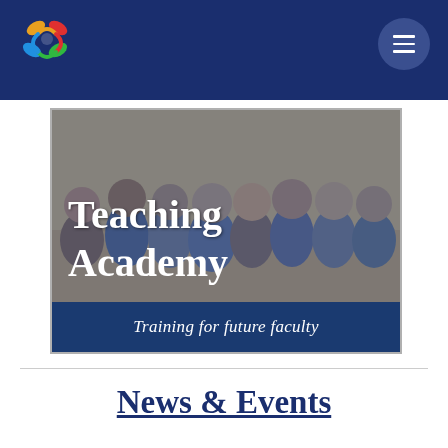Navigation header with logo and menu button
[Figure (photo): Group photo of smiling graduate students/faculty with blue overlay, overlaid with white serif text 'Teaching Academy' and blue banner 'Training for future faculty']
News & Events